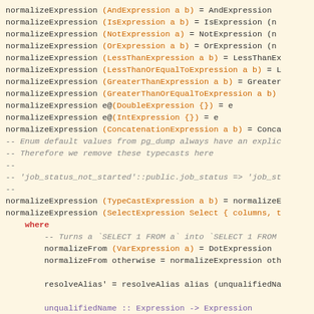Code snippet showing Haskell pattern matching for normalizeExpression and related functions with comments about enum default values and type casts.